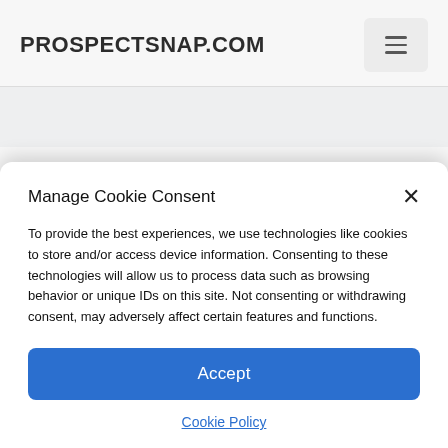PROSPECTSNAP.COM
Restaurant review
Manage Cookie Consent
To provide the best experiences, we use technologies like cookies to store and/or access device information. Consenting to these technologies will allow us to process data such as browsing behavior or unique IDs on this site. Not consenting or withdrawing consent, may adversely affect certain features and functions.
Accept
Cookie Policy